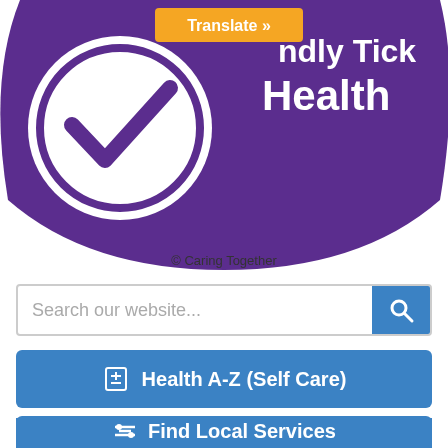[Figure (logo): Carer Friendly Tick Health logo — purple arc/banner with white checkmark circle on the left, orange Translate button overlay, and copyright text '© Caring Together' below]
Search our website...
Health A-Z (Self Care)
Find Local Services
This website uses cookies to improve your user experience. If you continue on this website, you will be providing your consent to our use of cookies.
More information    Accept